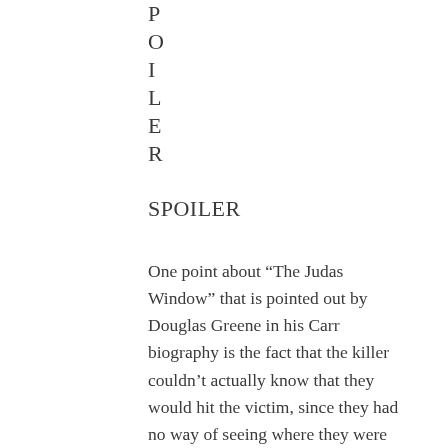P
O
I
L
E
R
SPOILER
One point about “The Judas Window” that is pointed out by Douglas Greene in his Carr biography is the fact that the killer couldn’t actually know that they would hit the victim, since they had no way of seeing where they were aiming. I’d agree that that is the main drawback of the solution.